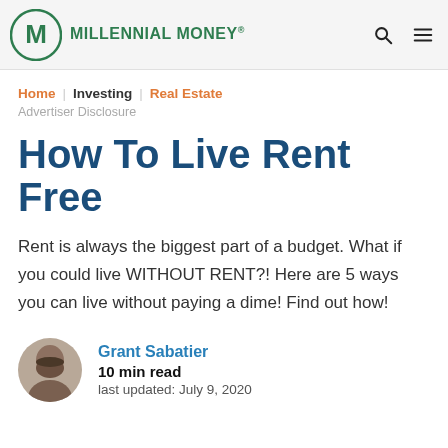MILLENNIAL MONEY®
Home | Investing | Real Estate
Advertiser Disclosure
How To Live Rent Free
Rent is always the biggest part of a budget. What if you could live WITHOUT RENT?! Here are 5 ways you can live without paying a dime! Find out how!
Grant Sabatier
10 min read
last updated: July 9, 2020